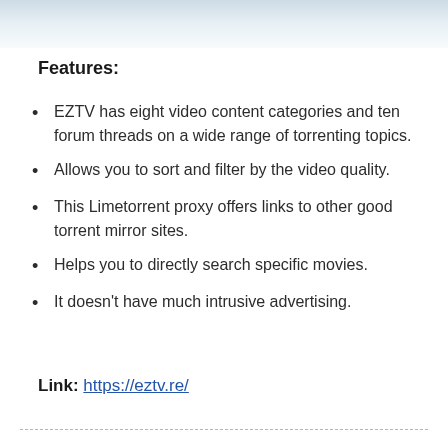[Figure (photo): Faded background image at top of page]
Features:
EZTV has eight video content categories and ten forum threads on a wide range of torrenting topics.
Allows you to sort and filter by the video quality.
This Limetorrent proxy offers links to other good torrent mirror sites.
Helps you to directly search specific movies.
It doesn't have much intrusive advertising.
Link: https://eztv.re/